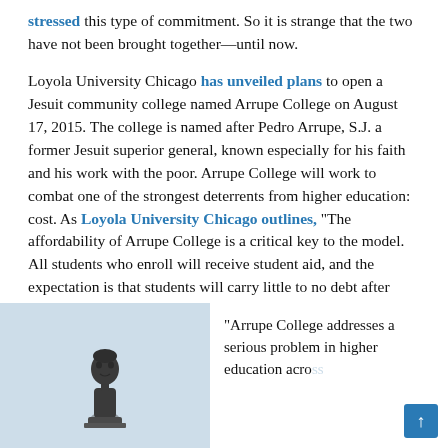stressed this type of commitment. So it is strange that the two have not been brought together—until now.
Loyola University Chicago has unveiled plans to open a Jesuit community college named Arrupe College on August 17, 2015. The college is named after Pedro Arrupe, S.J. a former Jesuit superior general, known especially for his faith and his work with the poor. Arrupe College will work to combat one of the strongest deterrents from higher education: cost. As Loyola University Chicago outlines, "The affordability of Arrupe College is a critical key to the model. All students who enroll will receive student aid, and the expectation is that students will carry little to no debt after completion of the program."
[Figure (photo): Photo of a statue (bust) of a person against a light blue-grey background]
"Arrupe College addresses a serious problem in higher education acro...